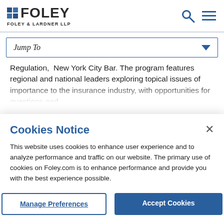FOLEY — FOLEY & LARDNER LLP
Jump To
Regulation, New York City Bar. The program features regional and national leaders exploring topical issues of importance to the insurance industry, with opportunities for questions and
Cookies Notice
This website uses cookies to enhance user experience and to analyze performance and traffic on our website. The primary use of cookies on Foley.com is to enhance performance and provide you with the best experience possible.
Manage Preferences
Accept Cookies